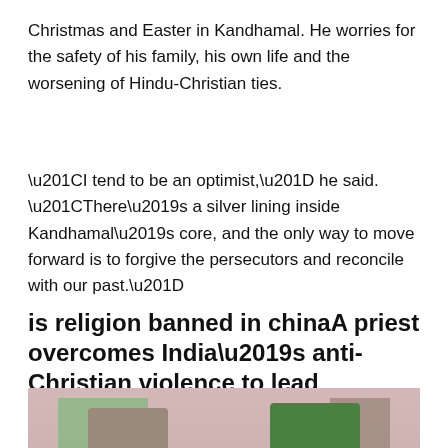Christmas and Easter in Kandhamal. He worries for the safety of his family, his own life and the worsening of Hindu-Christian ties.
“I tend to be an optimist,” he said. “There’s a silver lining inside Kandhamal’s core, and the only way to move forward is to forgive the persecutors and reconcile with our past.”
is religion banned in chinaA priest overcomes India’s anti-Christian violence to lead interfaith dialogue
[Figure (photo): A priest in a green vestment placing his hand on the head of an older man in a pink shirt, inside a church or room with colored glass windows visible in the background.]